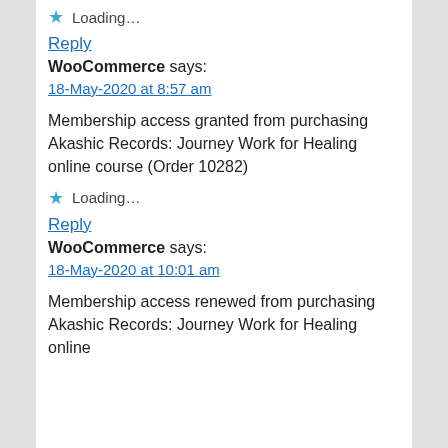★ Loading...
Reply
WooCommerce says:
18-May-2020 at 8:57 am
Membership access granted from purchasing Akashic Records: Journey Work for Healing online course (Order 10282)
★ Loading...
Reply
WooCommerce says:
18-May-2020 at 10:01 am
Membership access renewed from purchasing Akashic Records: Journey Work for Healing online